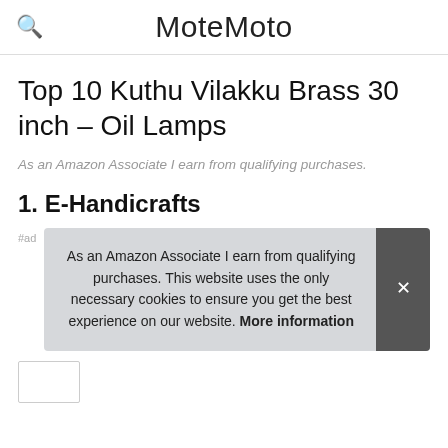MoteMoto
Top 10 Kuthu Vilakku Brass 30 inch – Oil Lamps
As an Amazon Associate I earn from qualifying purchases.
1. E-Handicrafts
As an Amazon Associate I earn from qualifying purchases. This website uses the only necessary cookies to ensure you get the best experience on our website. More information